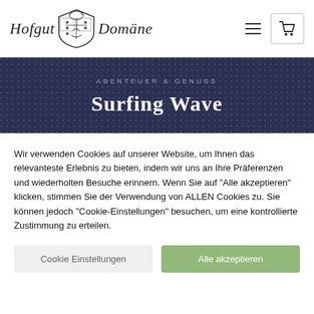Hofgut [crest] Domäne | navigation icons
[Figure (screenshot): Website header showing 'Hofgut Domäne' logo with coat of arms crest, hamburger menu icon, and shopping cart icon button]
ABENTEUER & GENUSS
Surfing Wave
Wir verwenden Cookies auf unserer Website, um Ihnen das relevanteste Erlebnis zu bieten, indem wir uns an Ihre Präferenzen und wiederholten Besuche erinnern. Wenn Sie auf "Alle akzeptieren" klicken, stimmen Sie der Verwendung von ALLEN Cookies zu. Sie können jedoch "Cookie-Einstellungen" besuchen, um eine kontrollierte Zustimmung zu erteilen.
Cookie Einstellungen | Alle akzeptieren